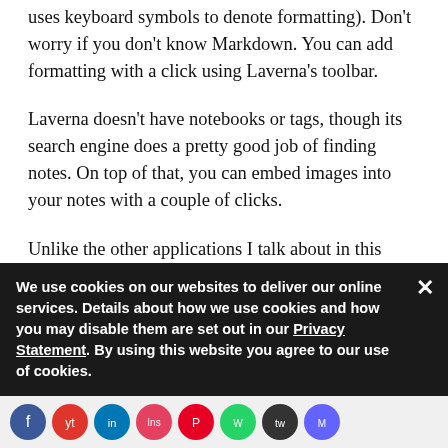uses keyboard symbols to denote formatting). Don't worry if you don't know Markdown. You can add formatting with a click using Laverna's toolbar.
Laverna doesn't have notebooks or tags, though its search engine does a pretty good job of finding notes. On top of that, you can embed images into your notes with a couple of clicks.
Unlike the other applications I talk about in this article, Laverna has desktop clients for Linux, Mac OS, and Windows which you can download ...
We use cookies on our websites to deliver our online services. Details about how we use cookies and how you may disable them are set out in our Privacy Statement. By using this website you agree to our use of cookies.